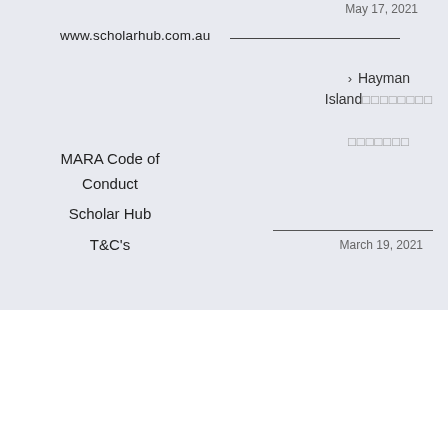Web:
www.scholarhub.com.au
May 17, 2021
> Hayman Island□□□□□□□□ □□□□□□□
March 19, 2021
MARA Code of Conduct
Scholar Hub
T&C's
© Copyright 2014 - 2022  |  Scholar Hub Pty Ltd  |  All Rights Reserved